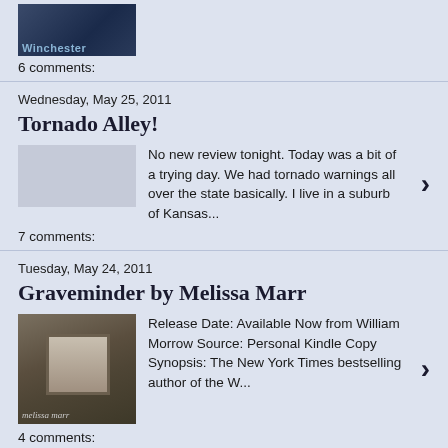[Figure (photo): Book cover thumbnail with dark tones, partial text visible]
6 comments:
Wednesday, May 25, 2011
Tornado Alley!
No new review tonight. Today was a bit of a trying day. We had tornado warnings all over the state basically. I live in a suburb of Kansas...
7 comments:
Tuesday, May 24, 2011
Graveminder by Melissa Marr
Release Date: Available Now from William Morrow Source: Personal Kindle Copy Synopsis: The New York Times bestselling author of the W...
4 comments:
Friday, May 20, 2011